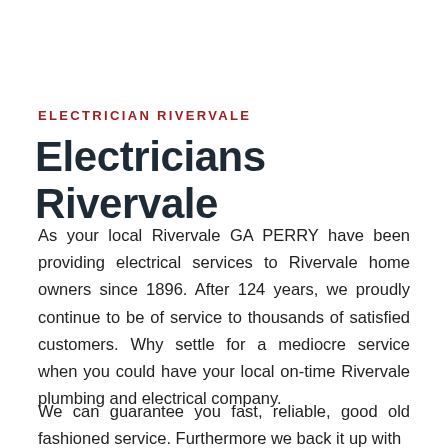ELECTRICIAN RIVERVALE
Electricians Rivervale
As your local Rivervale GA PERRY have been providing electrical services to Rivervale home owners since 1896. After 124 years, we proudly continue to be of service to thousands of satisfied customers. Why settle for a mediocre service when you could have your local on-time Rivervale plumbing and electrical company.
We can guarantee you fast, reliable, good old fashioned service. Furthermore we back it up with